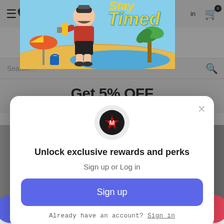[Figure (screenshot): Website background showing navigation bar with hamburger menu, phone icon, sign in text, cart icon with badge 0, a summer-themed banner with cartoon lifeguard character holding megaphone and beach elements, a search bar, and product tiles grid below. A dark overlay covers the background.]
[Figure (screenshot): Modal popup dialog with close X button, circular logo (black circle with red star and white M letter), title 'Unlock exclusive rewards and perks', subtitle 'Sign up or Log in', blue rounded Sign up button, and text 'Already have an account? Sign in' with underlined sign in link.]
Unlock exclusive rewards and perks
Sign up or Log in
Sign up
Already have an account? Sign in
No thanks